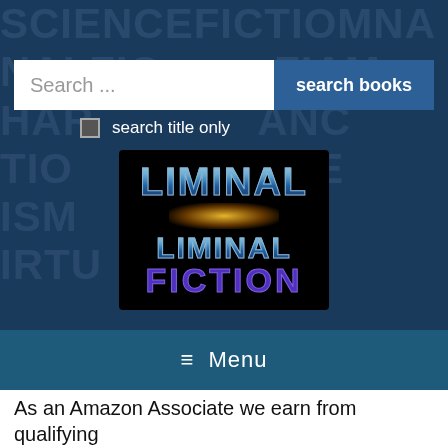[Figure (screenshot): Website header for 'Liminal Fiction' with a dark blue sci-fi background showing semi-transparent words (SCIENCE FICTION, NALFICTION, HAR, ANCTION, TIONISME, IRTU), a search bar with 'Search ...' input and 'search books' button, a 'search title only' checkbox, and the Liminal Fiction logo in the center.]
≡ Menu
As an Amazon Associate we earn from qualifying